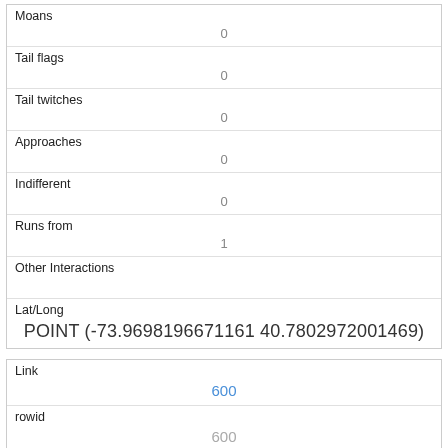| Moans | 0 |
| Tail flags | 0 |
| Tail twitches | 0 |
| Approaches | 0 |
| Indifferent | 0 |
| Runs from | 1 |
| Other Interactions |  |
| Lat/Long | POINT (-73.9698196671161 40.7802972001469) |
| Link | 600 |
| rowid | 600 |